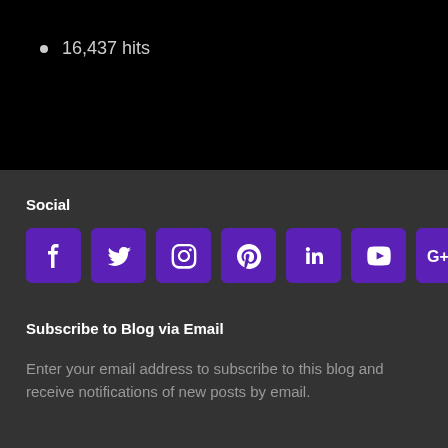16,437 hits
Social
[Figure (other): Social media icons: Facebook, Twitter, Instagram, Pinterest, LinkedIn, YouTube, Google+]
Subscribe to Blog via Email
Enter your email address to subscribe to this blog and receive notifications of new posts by email.